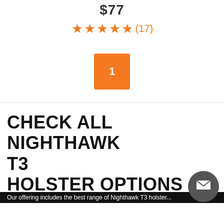$77
★★★★★ (17)
1
CHECK ALL NIGHTHAWK T3 HOLSTER OPTIONS
Our offering includes the best range of Nighthawk T3 holster...